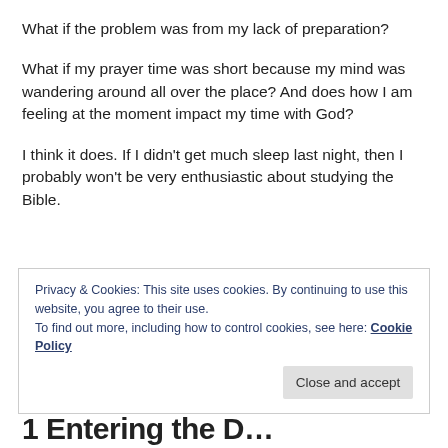What if the problem was from my lack of preparation?
What if my prayer time was short because my mind was wandering around all over the place? And does how I am feeling at the moment impact my time with God?
I think it does. If I didn't get much sleep last night, then I probably won't be very enthusiastic about studying the Bible.
Privacy & Cookies: This site uses cookies. By continuing to use this website, you agree to their use.
To find out more, including how to control cookies, see here: Cookie Policy
I Entering the D...